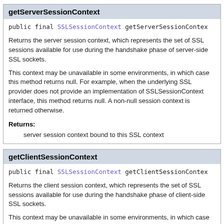getServerSessionContext
public final SSLSessionContext getServerSessionContext
Returns the server session context, which represents the set of SSL sessions available for use during the handshake phase of server-side SSL sockets.
This context may be unavailable in some environments, in which case this method returns null. For example, when the underlying SSL provider does not provide an implementation of SSLSessionContext interface, this method returns null. A non-null session context is returned otherwise.
Returns:
server session context bound to this SSL context
getClientSessionContext
public final SSLSessionContext getClientSessionContext
Returns the client session context, which represents the set of SSL sessions available for use during the handshake phase of client-side SSL sockets.
This context may be unavailable in some environments, in which case this method returns null. For example, when the underlying SSL provider does not provide an implementation of